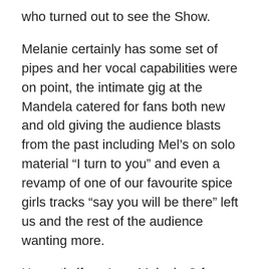who turned out to see the Show.
Melanie certainly has some set of pipes and her vocal capabilities were on point, the intimate gig at the Mandela catered for fans both new and old giving the audience blasts from the past including Mel’s on solo material “I turn to you” and even a revamp of one of our favourite spice girls tracks “say you will be there” left us and the rest of the audience wanting more.
Honestly if you’re a Melanie C fan or just curious to hear what this sexy minx has to offer to today’s musical world check out her new album “Version of Me” it’s unbelievable and new single “Hold On” featuring up and coming